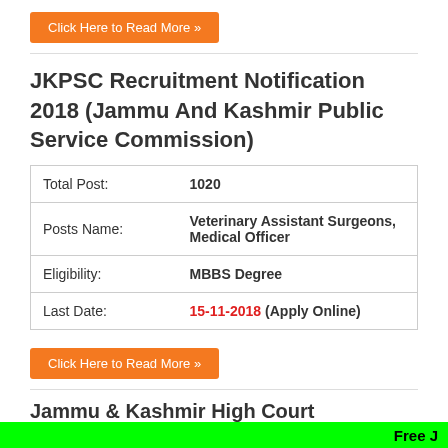[Figure (other): Orange button: Click Here to Read More »]
JKPSC Recruitment Notification 2018 (Jammu And Kashmir Public Service Commission)
| Total Post: | 1020 |
| Posts Name: | Veterinary Assistant Surgeons, Medical Officer |
| Eligibility: | MBBS Degree |
| Last Date: | 15-11-2018 (Apply Online) |
[Figure (other): Orange button: Click Here to Read More »]
Jammu & Kashmir High Court Recruitment
[Figure (other): Green banner bar at bottom with text: Free J]